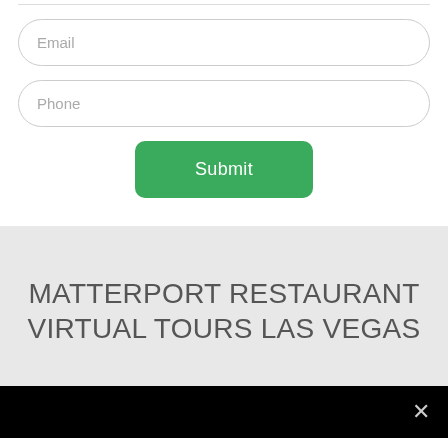Email
Phone
Submit
MATTERPORT RESTAURANT VIRTUAL TOURS LAS VEGAS
[Figure (screenshot): Black video bar at bottom with a white X close button on the right side]